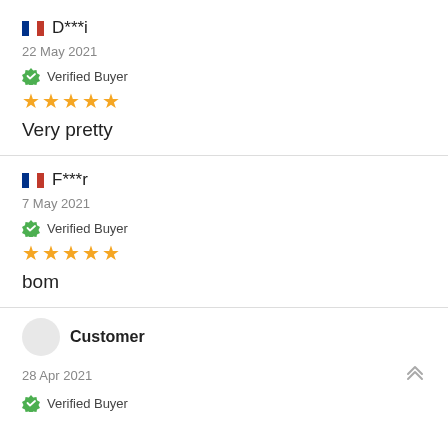D***i — 22 May 2021 — Verified Buyer — ★★★★★ — Very pretty
F***r — 7 May 2021 — Verified Buyer — ★★★★★ — bom
Customer — 28 Apr 2021 — Verified Buyer